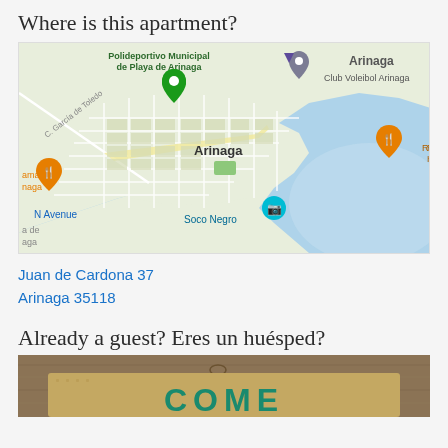Where is this apartment?
[Figure (map): Google Maps view of Arinaga neighborhood showing streets, coastline, and points of interest including Polideportivo Municipal de Playa de Arinaga, Club Voleibol Arinaga, Restaurante Hornos de La Cal, Soco Negro, and N Avenue.]
Juan de Cardona 37
Arinaga 35118
Already a guest? Eres un huésped?
[Figure (photo): Welcome doormat showing 'COME' text visible at bottom of image, on a wooden surface.]